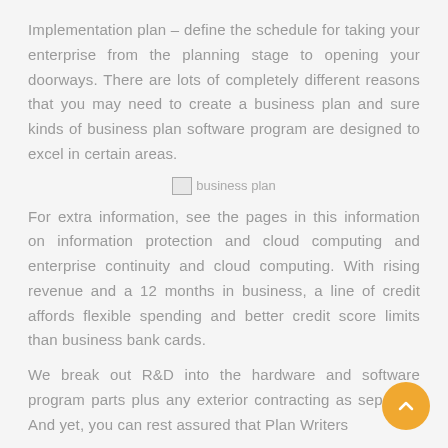Implementation plan – define the schedule for taking your enterprise from the planning stage to opening your doorways. There are lots of completely different reasons that you may need to create a business plan and sure kinds of business plan software program are designed to excel in certain areas.
[Figure (illustration): Broken image placeholder labeled 'business plan']
For extra information, see the pages in this information on information protection and cloud computing and enterprise continuity and cloud computing. With rising revenue and a 12 months in business, a line of credit affords flexible spending and better credit score limits than business bank cards.
We break out R&D into the hardware and software program parts plus any exterior contracting as separa… And yet, you can rest assured that Plan Writers